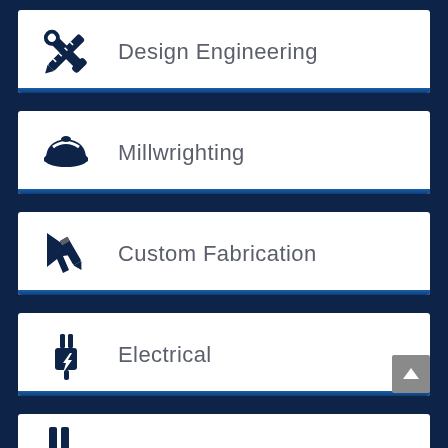Design Engineering
Millwrighting
Custom Fabrication
Electrical